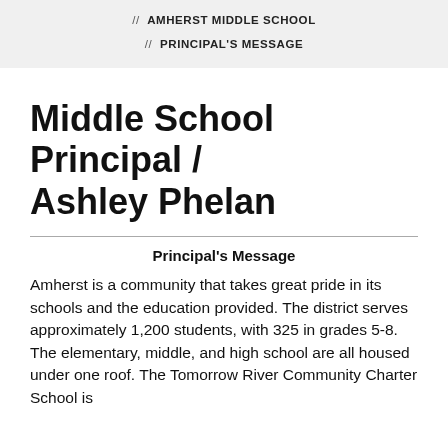// AMHERST MIDDLE SCHOOL
// PRINCIPAL'S MESSAGE
Middle School Principal / Ashley Phelan
Principal's Message
Amherst is a community that takes great pride in its schools and the education provided. The district serves approximately 1,200 students, with 325 in grades 5-8. The elementary, middle, and high school are all housed under one roof. The Tomorrow River Community Charter School is